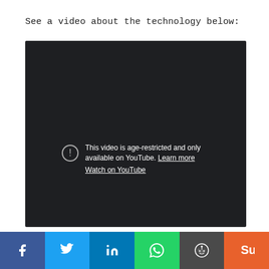See a video about the technology below:
[Figure (screenshot): Embedded YouTube video player showing an age-restricted video error message. Dark background with a warning icon (circle with exclamation mark) and text: 'This video is age-restricted and only available on YouTube. Learn more'. Below that: 'Watch on YouTube' link.]
[Figure (infographic): Social media sharing bar with six buttons: Facebook (blue), Twitter (light blue), LinkedIn (dark blue), WhatsApp (green), Reddit (dark gray), StumbleUpon (orange-red)]